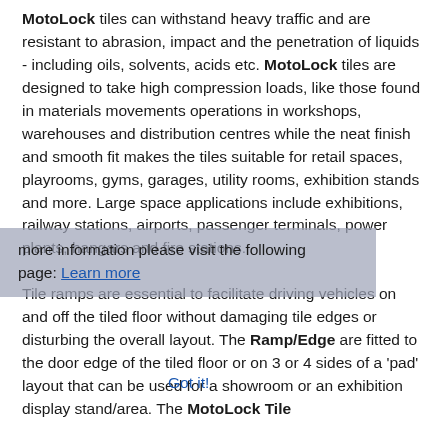MotoLock tiles can withstand heavy traffic and are resistant to abrasion, impact and the penetration of liquids - including oils, solvents, acids etc. MotoLock tiles are designed to take high compression loads, like those found in materials movements operations in workshops, warehouses and distribution centres while the neat finish and smooth fit makes the tiles suitable for retail spaces, playrooms, gyms, garages, utility rooms, exhibition stands and more. Large space applications include exhibitions, railway stations, airports, passenger terminals, power plants, hangars and fire stations. Tile ramps are essential to facilitate driving vehicles on and off the tiled floor without damaging tile edges or disturbing the overall layout. The Ramp/Edge are fitted to the door edge of the tiled floor or on 3 or 4 sides of a 'pad' layout that can be used for a showroom or an exhibition display stand/area. The MotoLock Tile
more information please visit the following page: Learn more
Got it!